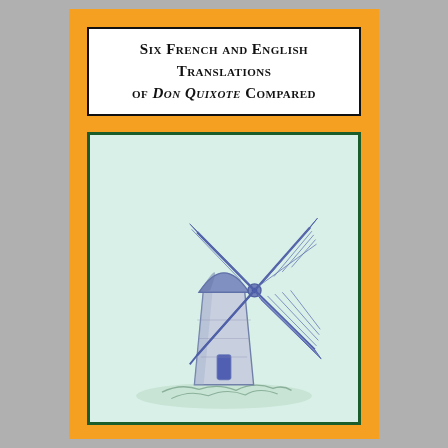Six French and English Translations of Don Quixote Compared
[Figure (illustration): A pencil/ink sketch illustration of a traditional Spanish windmill with four sails/blades, drawn in blue-purple tones on a light mint/green background. The windmill has a conical roof, cylindrical stone tower body, a small door, and tall crossed wooden sail frames with latticed panels. It sits on a grassy mound.]